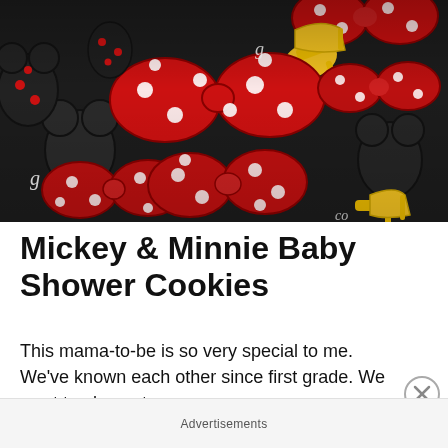[Figure (photo): Close-up photo of Mickey and Minnie Mouse themed decorated cookies. Cookies are shaped as Minnie Mouse bows (red with white polka dots), Minnie Mouse heads, high-heel shoes (yellow), and onesie/romper shapes (dark/black with polka dots). Some cookies have a cursive 'g' monogram. The cookies are colorful — red, yellow, black, white — and arranged closely together filling the frame.]
Mickey & Minnie Baby Shower Cookies
This mama-to-be is so very special to me. We've known each other since first grade. We went to elementary,
Advertisements